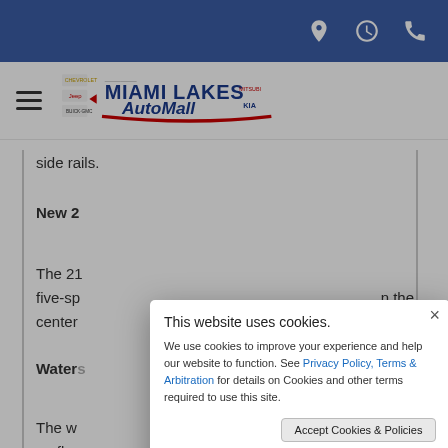Top navigation bar with location, clock, and phone icons
[Figure (logo): Miami Lakes AutoMall logo with hamburger menu icon]
side rails.
New 2...
The 21... a five-sp... n the center...
Waters...
The wa... surfbo... multi-p... also
This website uses cookies.

We use cookies to improve your experience and help our website to function. See Privacy Policy, Terms & Arbitration for details on Cookies and other terms required to use this site.

[Accept Cookies & Policies] [More Information]

Privacy Policy